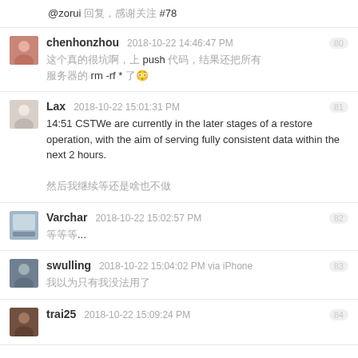@zorui 回复，感谢关注 #78
chenhonzhou  2018-10-22 14:46:47 PM  80
这个真的很坑啊，上 push 代码，结果还把所有
服务器的 rm -rf * 😳
Lax  2018-10-22 15:01:31 PM  81
14:51 CSTWe are currently in the later stages of a restore operation, with the aim of serving fully consistent data within the next 2 hours.
然后我继续等还是啥也不做
Varchar  2018-10-22 15:02:57 PM  82
等等等...
swulling  2018-10-22 15:04:02 PM via iPhone  83
我以为只有我没法用了
trai25  2018-10-22 15:09:24 PM  84